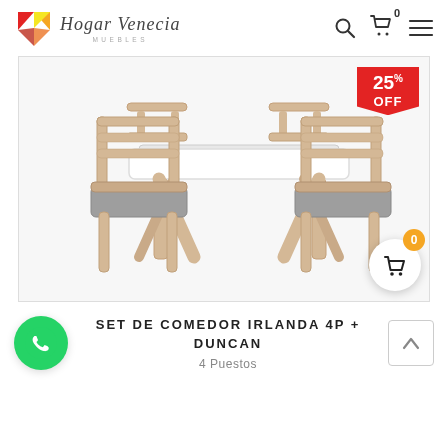[Figure (logo): Hogar Venecia Muebles logo with colorful geometric shape and italic script text]
[Figure (photo): Dining room set: white rectangular table with four wooden chairs with gray upholstered seats. Red 25% OFF badge in top right corner of image.]
SET DE COMEDOR IRLANDA 4P + DUNCAN
4 Puestos